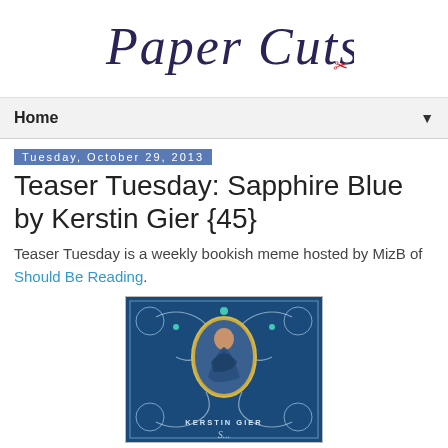[Figure (logo): Paper Cuts blog logo with cursive/script lettering in dark navy blue and a small red scissors icon]
Home ▼
Tuesday, October 29, 2013
Teaser Tuesday: Sapphire Blue by Kerstin Gier {45}
Teaser Tuesday is a weekly bookish meme hosted by MizB of Should Be Reading.
[Figure (photo): Book cover of Sapphire Blue by Kerstin Gier — deep blue background with ornate silver swirl designs, oval portrait of a young woman in blue dress, text KERSTIN GIER at the bottom]